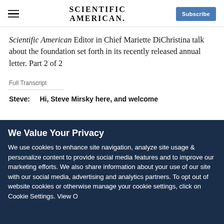Scientific American | Subscribe
Scientific American Editor in Chief Mariette DiChristina talk about the foundation set forth in its recently released annual letter. Part 2 of 2
Full Transcript
Steve: Hi, Steve Mirsky here, and welcome
We Value Your Privacy
We use cookies to enhance site navigation, analyze site usage & personalize content to provide social media features and to improve our marketing efforts. We also share information about your use of our site with our social media, advertising and analytics partners. To opt out of website cookies or otherwise manage your cookie settings, click on Cookie Settings. View O...